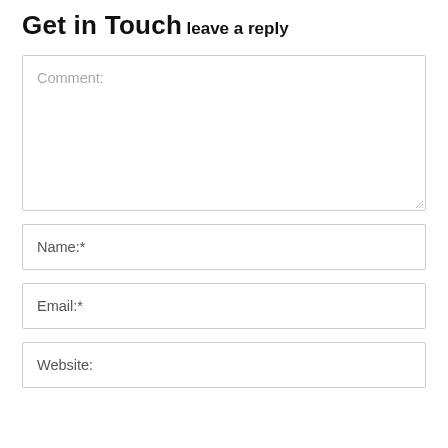Get in Touch
leave a reply
[Figure (screenshot): Web contact form with Comment textarea, Name, Email, and Website input fields]
Comment:
Name:*
Email:*
Website: